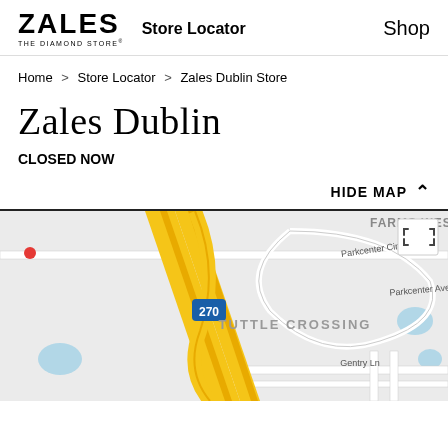ZALES THE DIAMOND STORE® | Store Locator | Shop
Home > Store Locator > Zales Dublin Store
Zales Dublin
CLOSED NOW
HIDE MAP ∧
[Figure (map): Google map showing Tuttle Crossing area near Dublin, Ohio. Visible features: I-270 highway (yellow lines, interstate shield), Parkcenter Cir, Parkcenter Ave, Gentry Ln road labels, TUTTLE CROSSING neighborhood label, FARMS WEST label (partially visible top right), blue water feature, gray street grid, expand/fullscreen icon button in top right corner.]